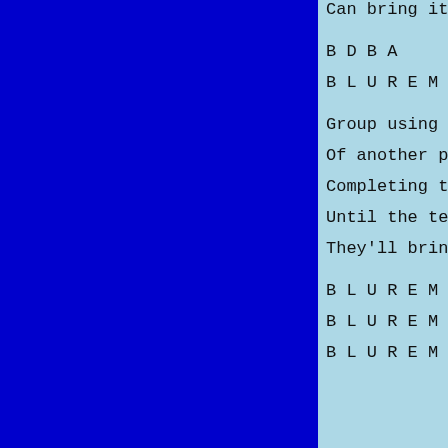[Figure (other): Large dark blue rectangle occupying the left roughly two-thirds of the page]
Can bring it on

B D B A

B L U R E M I (

Group using a l

Of another pop

Completing the

Until the teena

They'll bring i

B L U R E M I

B L U R E M I

B L U R E M I